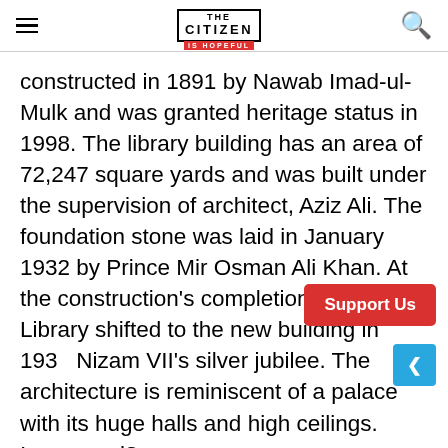THE CITIZEN IS HOPEFUL
constructed in 1891 by Nawab Imad-ul-Mulk and was granted heritage status in 1998. The library building has an area of 72,247 square yards and was built under the supervision of architect, Aziz Ali. The foundation stone was laid in January 1932 by Prince Mir Osman Ali Khan. At the construction's completion, the Asafia Library shifted to the new building in 193… Nizam VII's silver jubilee. The architecture is reminiscent of a palace with its huge halls and high ceilings. Impressed?